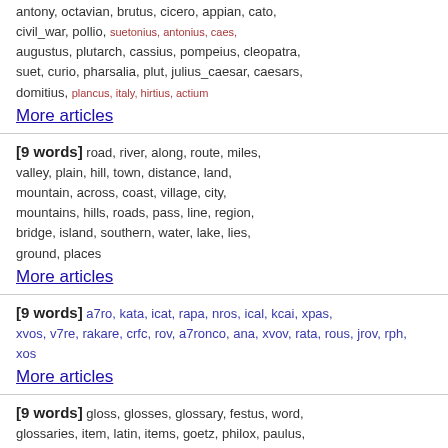antony, octavian, brutus, cicero, appian, cato, civil_war, pollio, suetonius, antonius, caes, augustus, plutarch, cassius, pompeius, cleopatra, suet, curio, pharsalia, plut, julius_caesar, caesars, domitius, plancus, italy, hirtius, actium
More articles
[9 words] road, river, along, route, miles, valley, plain, hill, town, distance, land, mountain, across, coast, village, city, mountains, hills, roads, pass, line, region, bridge, island, southern, water, lake, lies, ground, places
More articles
[9 words] a7ro, kata, icat, rapa, nros, ical, kcai, xpas, xvos, v7re, rakare, crfc, rov, a7ronco, ana, xvov, rata, rous, jrov, rph, xos
More articles
[9 words] gloss, glosses, glossary, festus, word, glossaries, item, latin, items, goetz, philox, paulus, abstrusa, paul, abolita, hild, prod, virgil, lemma, placidus, isidore, plac, loewe, abol, philoxemus, dicitur, isid, abstr, gildas, genus